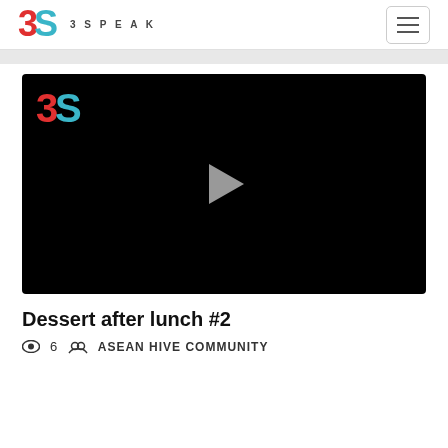3SPEAK
[Figure (screenshot): 3Speak video player thumbnail showing black background with 3Speak logo in top left and a gray play button triangle in the center]
Dessert after lunch #2
6  ASEAN HIVE COMMUNITY